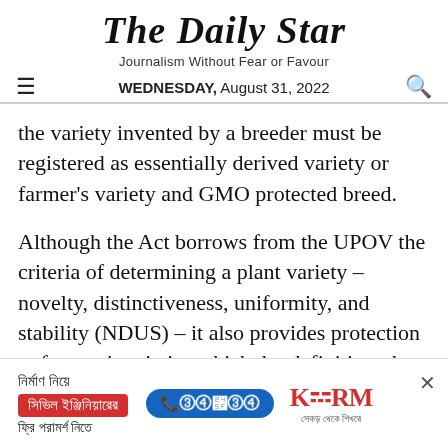The Daily Star
Journalism Without Fear or Favour
WEDNESDAY, August 31, 2022
the variety invented by a breeder must be registered as essentially derived variety or farmer's variety and GMO protected breed.
Although the Act borrows from the UPOV the criteria of determining a plant variety – novelty, distinctiveness, uniformity, and stability (NDUS) – it also provides protection to farmers' varieties which, by definition, do not meet the four
[Figure (other): Advertisement banner for KSRM civil engineering consultation service with Bengali text, phone number 16749, and KSRM logo]